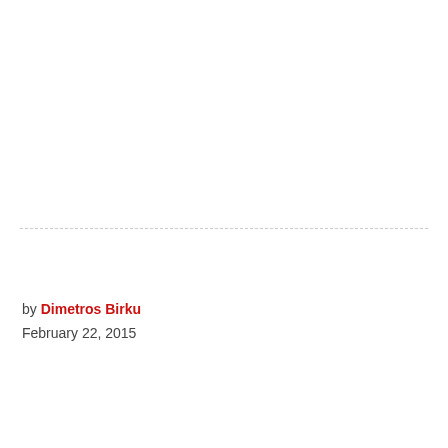by Dimetros Birku
February 22, 2015